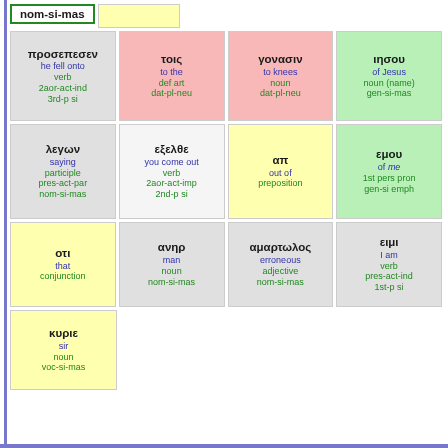| nom-si-mas | (yellow) |  |  |
| προσεπεσεν / he fell onto / verb / 2aor-act-ind / 3rd-p si | τοις / to the / def art / dat-pl-neu | γονασιν / to knees / noun / dat-pl-neu | ιησου / of Jesus / noun (name) / gen-si-mas |
| λεγων / saying / participle / pres-act-par / nom-si-mas | εξελθε / you come out / verb / 2aor-act-imp / 2nd-p si | απ / out of / preposition | εμου / of me / 1st pers pron / gen-si emph |
| οτι / that / conjunction | ανηρ / man / noun / nom-si-mas | αμαρτωλος / erroneous / adjective / nom-si-mas | ειμι / I am / verb / pres-act-ind / 1st-p si |
| κυριε / sir / noun / voc-si-mas |  |  |  |